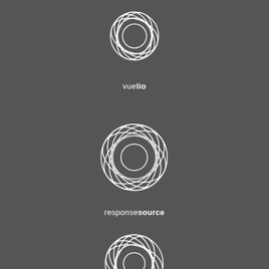[Figure (logo): Vuelio logo with circular swirl graphic and text 'vuelio' where 'lio' is bold]
[Figure (logo): ResponseSource logo with circular swirl graphic and text 'responsesource' where 'source' is bold]
[Figure (logo): Isentia logo with circular swirl graphic and text 'isentia' in bold]
[Figure (logo): Partial logo at bottom, circular swirl partially visible]